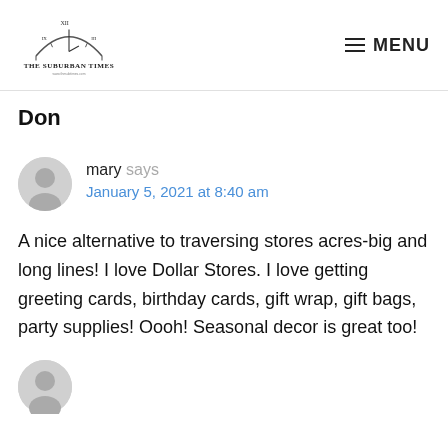[Figure (logo): The Suburban Times newspaper logo with clock graphic above the text]
Don
mary says
January 5, 2021 at 8:40 am
A nice alternative to traversing stores acres-big and long lines! I love Dollar Stores. I love getting greeting cards, birthday cards, gift wrap, gift bags, party supplies! Oooh! Seasonal decor is great too!